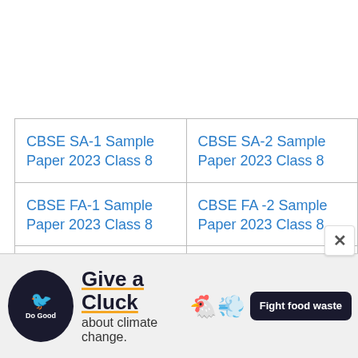| CBSE SA-1 Sample Paper 2023 Class 8 | CBSE SA-2 Sample Paper 2023 Class 8 |
| CBSE FA-1 Sample Paper 2023 Class 8 | CBSE FA -2 Sample Paper 2023 Class 8 |
| CBSE FA-3 Sample Paper 2023 Class 8 | CBSE FA-4 Sample Paper 2023 Class 8 |
[Figure (infographic): Advertisement banner: 'Do Good' logo with a bird icon. Text reads 'Give a Cluck about climate change.' with a 'Fight food waste' button.]